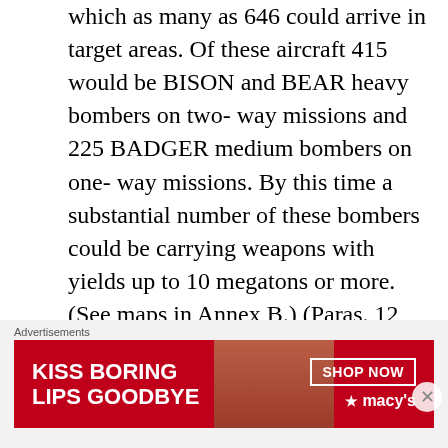which as many as 646 could arrive in target areas. Of these aircraft 415 would be BISON and BEAR heavy bombers on two-way missions and 225 BADGER medium bombers on one-way missions. By this time a substantial number of these bombers could be carrying weapons with yields up to 10 megatons or more. (See maps in Annex B.) (Paras. 12, 60, 71)
6. Should the USSR elect to use only heavy bombers in an initial strike against the US in 1959, about 630 could be launched if only home bases were used.